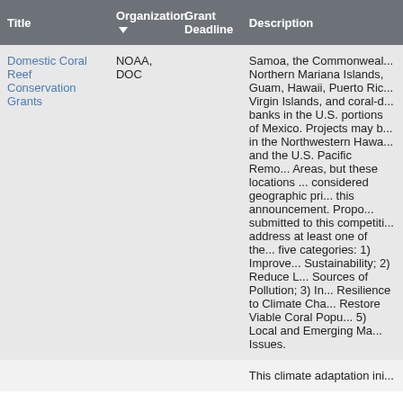| Title | Organization | Grant Deadline | Description |
| --- | --- | --- | --- |
| Domestic Coral Reef Conservation Grants | NOAA, DOC |  | Samoa, the Commonwealth of Northern Mariana Islands, Guam, Hawaii, Puerto Rico, Virgin Islands, and coral-dominated banks in the U.S. portions of the Gulf of Mexico. Projects may be conducted in the Northwestern Hawaiian Islands and the U.S. Pacific Remote Island Areas, but these locations are not considered geographic priorities under this announcement. Proposals submitted to this competition must address at least one of the following five categories: 1) Improve Sustainability; 2) Reduce Local Sources of Pollution; 3) Increase Resilience to Climate Change; 4) Restore Viable Coral Populations; 5) Local and Emerging Management Issues. |
|  |  |  | This climate adaptation ini... designed to... |